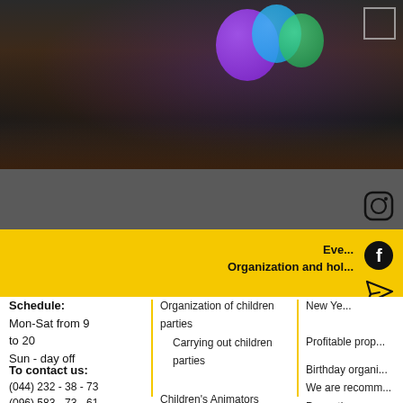[Figure (photo): Blurred dark photo of a party/event scene with purple, blue, and green balloons visible in the upper portion]
Eve... Organization and hol...
Schedule:
Mon-Sat from 9
to 20
Sun - day off
Organization of children parties
Carrying out children parties
Children&#39;s Animators
Show programs
Additional services
Master classes
High school graduation
New Ye...
Profitable prop...
Birthday organi...
We are recomm...
Promotions
Price
To contact us:
(044) 232 - 38 - 73
(096) 583 - 73 - 61